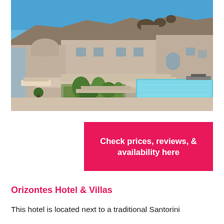[Figure (photo): Aerial/elevated view of a Santorini-style hotel with whitewashed and beige/tan cubic buildings, a turquoise swimming pool in the lower right, green planted garden bed in the lower center, and rocky hillside with cave-like structures in the background under a blue sky.]
Check prices, reviews, & availability here
Orizontes Hotel & Villas
This hotel is located next to a traditional Santorini